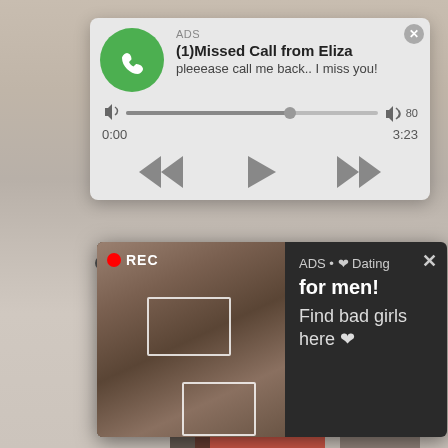[Figure (screenshot): Mobile browser with two ad overlays. Top ad: green phone icon, 'ADS', '(1)Missed Call from Eliza', 'pleeease call me back.. I miss you!', audio player bar, time 0:00 / 3:23, media transport controls. Bottom ad: dark background with selfie photo showing REC indicator, text 'ADS • ❤ Dating for men! Find bad girls here ❤'. Background shows partial real photos behind the ads.]